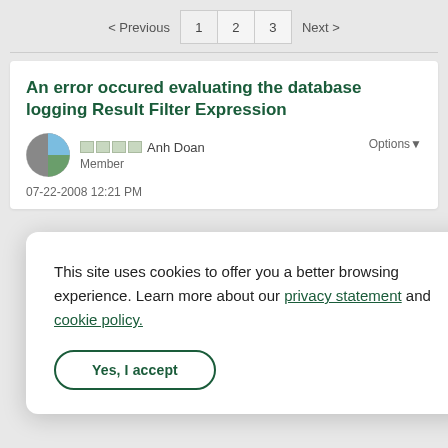< Previous  1  2  3  Next >
An error occured evaluating the database logging Result Filter Expression
Anh Doan
Member
07-22-2008 12:21 PM
This site uses cookies to offer you a better browsing experience. Learn more about our privacy statement and cookie policy.
Yes, I accept